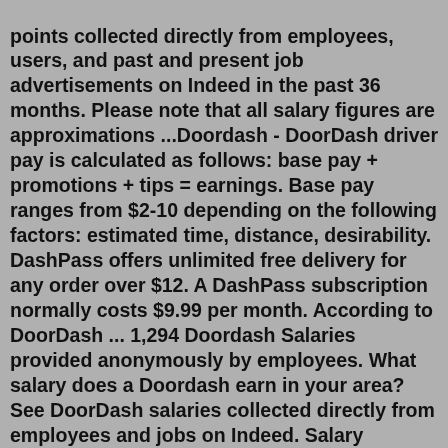points collected directly from employees, users, and past and present job advertisements on Indeed in the past 36 months. Please note that all salary figures are approximations ...Doordash - DoorDash driver pay is calculated as follows: base pay + promotions + tips = earnings. Base pay ranges from $2-10 depending on the following factors: estimated time, distance, desirability. DashPass offers unlimited free delivery for any order over $12. A DashPass subscription normally costs $9.99 per month. According to DoorDash ... 1,294 Doordash Salaries provided anonymously by employees. What salary does a Doordash earn in your area?See DoorDash salaries collected directly from employees and jobs on Indeed. Salary information comes from 678 data points collected directly from employees, users, and past and present job advertisements on Indeed in the past 36 months. Please note that all salary figures are approximations based upon third party submissions to Indeed.Jun 06, 2022 · By providing optimal customer service, you can secure tips that could pay